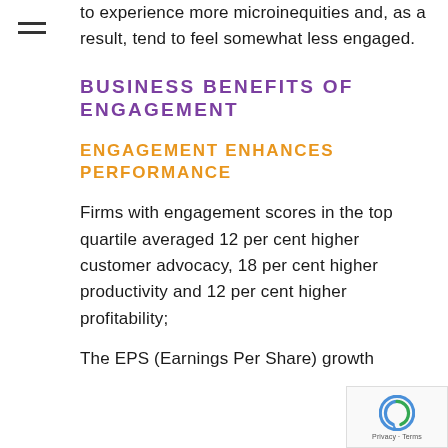to experience more microinequities and, as a result, tend to feel somewhat less engaged.
BUSINESS BENEFITS OF ENGAGEMENT
ENGAGEMENT ENHANCES PERFORMANCE
Firms with engagement scores in the top quartile averaged 12 per cent higher customer advocacy, 18 per cent higher productivity and 12 per cent higher profitability;
The EPS (Earnings Per Share) growth